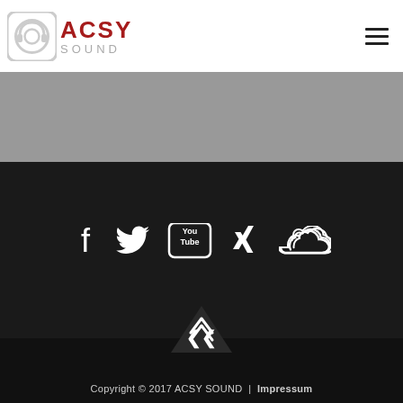[Figure (logo): ACSY SOUND logo with headphone icon and text]
[Figure (infographic): Social media icons: Facebook, Twitter, YouTube, Xing, SoundCloud]
Copyright © 2017 ACSY SOUND | Impressum